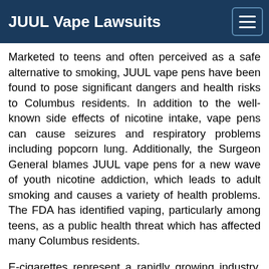JUUL Vape Lawsuits
Marketed to teens and often perceived as a safe alternative to smoking, JUUL vape pens have been found to pose significant dangers and health risks to Columbus residents. In addition to the well-known side effects of nicotine intake, vape pens can cause seizures and respiratory problems including popcorn lung. Additionally, the Surgeon General blames JUUL vape pens for a new wave of youth nicotine addiction, which leads to adult smoking and causes a variety of health problems. The FDA has identified vaping, particularly among teens, as a public health threat which has affected many Columbus residents.
E-cigarettes represent a rapidly growing industry, with more than 20 million Americans now using vape pens. First released in the United States in 2007, e-cigarettes were not regulated by the FDA until 2016. JUUL, which dominates the market with a 70% market share, has been blamed for targeting Columbus children and teens as well as for